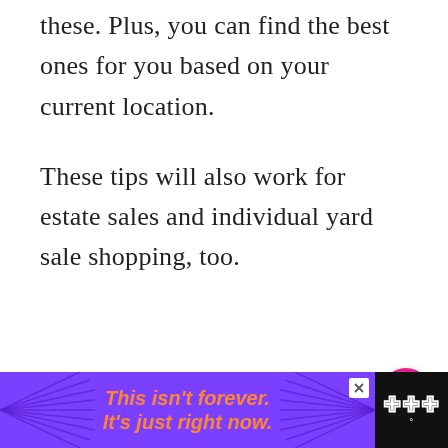these. Plus, you can find the best ones for you based on your current location.
These tips will also work for estate sales and individual yard sale shopping, too.
[Figure (screenshot): Pink heart/favorite button (circular pink button with white heart icon)]
[Figure (screenshot): Share button (circular white button with share icon)]
[Figure (screenshot): What's Next widget showing a thumbnail for '10 Garage Sale Tips &...' article]
[Figure (screenshot): Advertisement banner at the bottom: purple background with orange italic text 'This isn't forever. It's just right now.' and a close button. Wunderground logo on the right.]